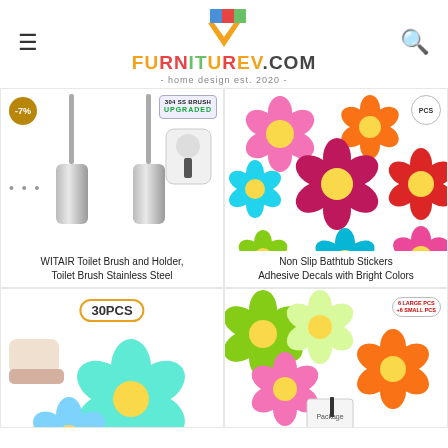FURNITUREV.COM - home design est. 2020 -
[Figure (photo): WITAIR Toilet Brush and Holder, stainless steel, two units shown with -7% discount badge and '304 SS Brush Upgraded' badge]
WITAIR Toilet Brush and Holder, Toilet Brush Stainless Steel
[Figure (photo): Non Slip Bathtub Stickers - colorful flower-shaped adhesive decals in pink, orange, purple, teal, green on white background, PCS badge]
Non Slip Bathtub Stickers Adhesive Decals with Bright Colors
[Figure (photo): 30PCS non-slip bath stickers, light blue flower shaped, person stepping on them shown]
[Figure (photo): Flower shaped non-slip bath stickers in neon colors (green, yellow, pink, orange), 6 large + 6 small PCS badge, with packaging shown]